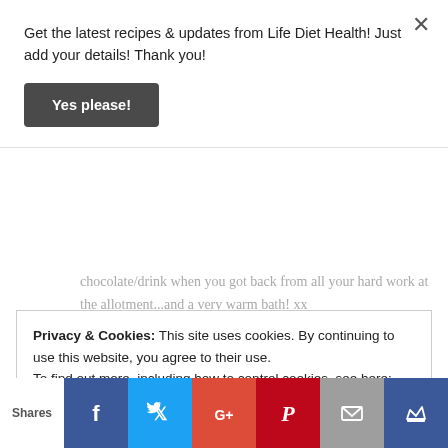Get the latest recipes & updates from Life Diet Health! Just add your details! Thank you!
Yes please!
chocolate/drink when you got back from all your hard work at the allotment...and a very warm bath! xx
Loading...
Reply
Privacy & Cookies: This site uses cookies. By continuing to use this website, you agree to their use.
To find out more, including how to control cookies, see here: Cookie Policy
Shares